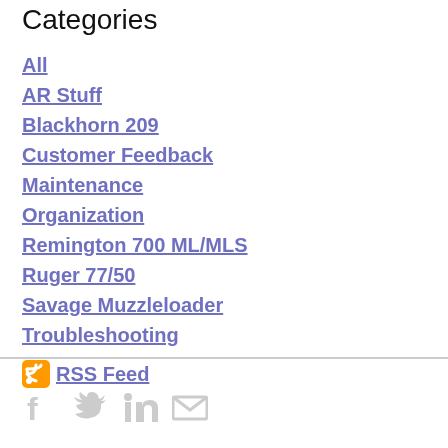Categories
All
AR Stuff
Blackhorn 209
Customer Feedback
Maintenance
Organization
Remington 700 ML/MLS
Ruger 77/50
Savage Muzzleloader
Troubleshooting
RSS Feed
[Figure (infographic): Social media icons: Facebook, Twitter, LinkedIn, Email]